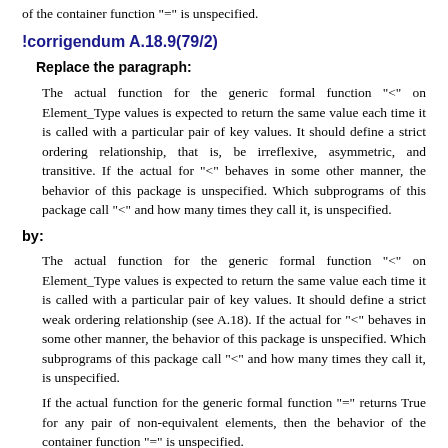of the container function "=" is unspecified.
!corrigendum A.18.9(79/2)
Replace the paragraph:
The actual function for the generic formal function "<" on Element_Type values is expected to return the same value each time it is called with a particular pair of key values. It should define a strict ordering relationship, that is, be irreflexive, asymmetric, and transitive. If the actual for "<" behaves in some other manner, the behavior of this package is unspecified. Which subprograms of this package call "<" and how many times they call it, is unspecified.
by:
The actual function for the generic formal function "<" on Element_Type values is expected to return the same value each time it is called with a particular pair of key values. It should define a strict weak ordering relationship (see A.18). If the actual for "<" behaves in some other manner, the behavior of this package is unspecified. Which subprograms of this package call "<" and how many times they call it, is unspecified.
If the actual function for the generic formal function "=" returns True for any pair of non-equivalent elements, then the behavior of the container function "=" is unspecified.